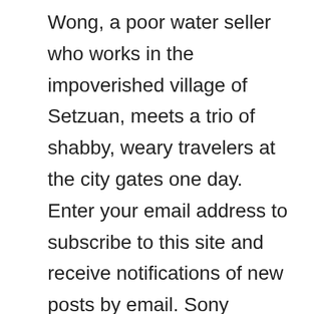Wong, a poor water seller who works in the impoverished village of Setzuan, meets a trio of shabby, weary travelers at the city gates one day. Enter your email address to subscribe to this site and receive notifications of new posts by email. Sony Screen GemsRated PG 13 for sequences of violence, terror, menace, and for language. In the evening, Howard returns home to change clothes and bathe. She's apparently moved and severed all communication with Colin since he went to jail, and apparently no one in law enforcement thought to warn her that her psycho ex was on the loose. In fact, with Terri having an unhappy marriage to husband Jeffrey Henry Simmons, the attention and flirting almost makes you think Colin may go for